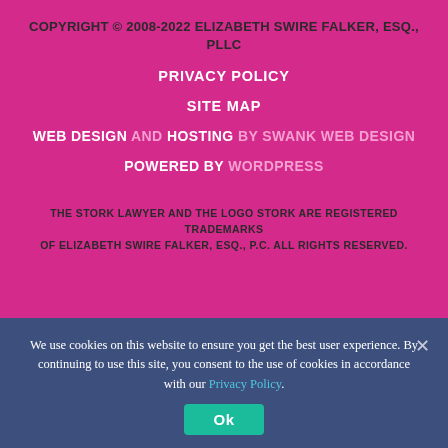COPYRIGHT © 2008-2022 ELIZABETH SWIRE FALKER, ESQ., PLLC
PRIVACY POLICY
SITE MAP
WEB DESIGN AND HOSTING BY SWANK WEB DESIGN
POWERED BY WORDPRESS
THE STORK LAWYER AND THE LOGO STORK ARE REGISTERED TRADEMARKS OF ELIZABETH SWIRE FALKER, ESQ., P.C. ALL RIGHTS RESERVED.
We use cookies on this website to ensure you get the best user experience. By continuing to use this site, you consent to the use of cookies in accordance with our Privacy Policy.
Ok